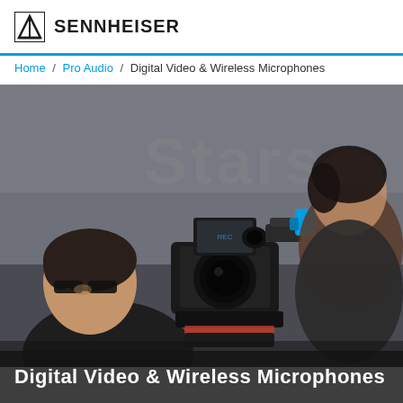SENNHEISER
Home / Pro Audio / Digital Video & Wireless Microphones
[Figure (photo): A cameraman with glasses looking through a professional video camera mounted on a rig, with a woman in a leather jacket blurred in the background, shot on location outdoors with blurred building signage in the background.]
Digital Video & Wireless Microphones